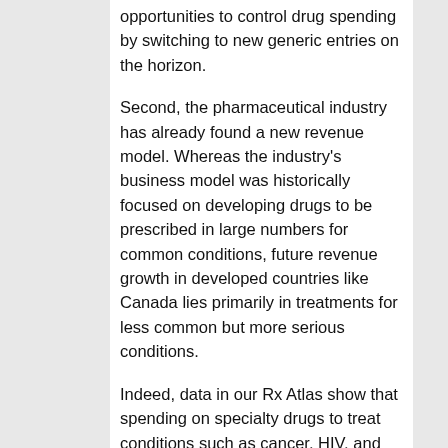opportunities to control drug spending by switching to new generic entries on the horizon.
Second, the pharmaceutical industry has already found a new revenue model. Whereas the industry's business model was historically focused on developing drugs to be prescribed in large numbers for common conditions, future revenue growth in developed countries like Canada lies primarily in treatments for less common but more serious conditions.
Indeed, data in our Rx Atlas show that spending on specialty drugs to treat conditions such as cancer, HIV, and multiple sclerosis has increased dramatically. The fastest growth occurred for immunosuppressants to treat inflammatory conditions such as rheumatoid arthritis and psoriasis, where spending grew by nearly $1-billion over the past five years.